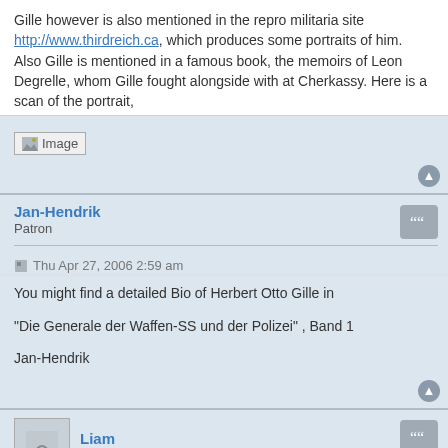Gille however is also mentioned in the repro militaria site http://www.thirdreich.ca, which produces some portraits of him. Also Gille is mentioned in a famous book, the memoirs of Leon Degrelle, whom Gille fought alongside with at Cherkassy. Here is a scan of the portrait,
[Figure (other): Broken image placeholder labeled 'Image']
Jan-Hendrik
Patron
Thu Apr 27, 2006 2:59 am
You might find a detailed Bio of Herbert Otto Gille in

"Die Generale der Waffen-SS und der Polizei" , Band 1

Jan-Hendrik
Liam
Enthusiast